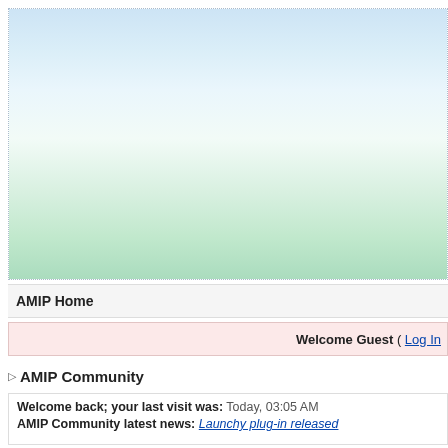[Figure (screenshot): Website banner area with a gradient background going from light blue at the top to light green at the bottom, with a dotted border.]
AMIP Home
Welcome Guest ( Log In
▷ AMIP Community
Welcome back; your last visit was: Today, 03:05 AM
AMIP Community latest news: Launchy plug-in released
▶ AMIP now playing